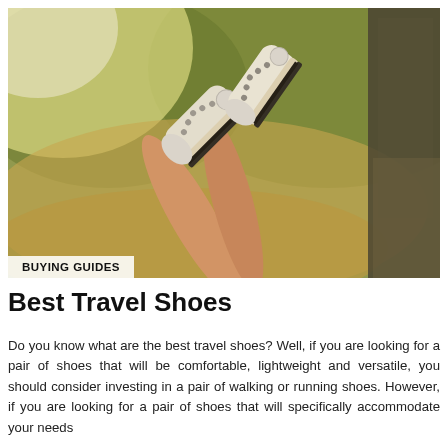[Figure (photo): Person's legs with white Converse sneakers propped out of a car window, with a blurred outdoor road/grassy background bathed in warm golden light.]
Best Travel Shoes
Do you know what are the best travel shoes? Well, if you are looking for a pair of shoes that will be comfortable, lightweight and versatile, you should consider investing in a pair of walking or running shoes. However, if you are looking for a pair of shoes that will specifically accommodate your needs